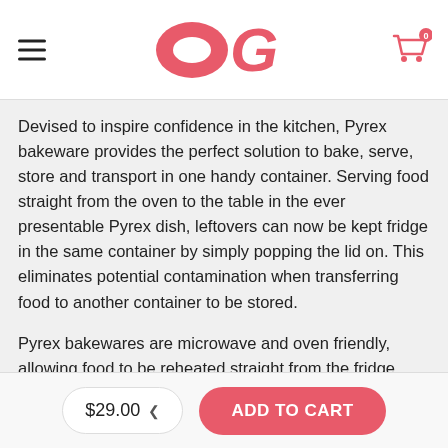OG header with hamburger menu and cart icon
Devised to inspire confidence in the kitchen, Pyrex bakeware provides the perfect solution to bake, serve, store and transport in one handy container. Serving food straight from the oven to the table in the ever presentable Pyrex dish, leftovers can now be kept fridge in the same container by simply popping the lid on. This eliminates potential contamination when transferring food to another container to be stored.
Pyrex bakewares are microwave and oven friendly, allowing food to be reheated straight from the fridge without the need of a pot or pan. Pyrex bakewares come in a variety of shapes and sizes to serve every purpose for the modern kitchen with its smart design and multi-functionality sealed with approval for today's busy woman.
$29.00 ▾  ADD TO CART